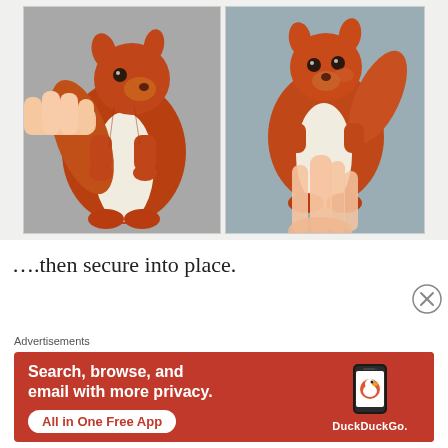[Figure (photo): Two side-by-side photos of a felted/knitted squirrel toy (reddish-brown with white belly) being held by a human hand. Left photo shows the squirrel from the front/side with a hand cradling it. Right photo shows the squirrel from the front with a hand placing/securing it from behind.]
….then secure into place.
Advertisements
[Figure (screenshot): DuckDuckGo advertisement banner. Orange/red background. Left side text: 'Search, browse, and email with more privacy.' with a white rounded button 'All in One Free App'. Right side shows a smartphone with DuckDuckGo app logo and 'DuckDuckGo.' text below. A close/dismiss X button appears in the top right corner of the ad area.]